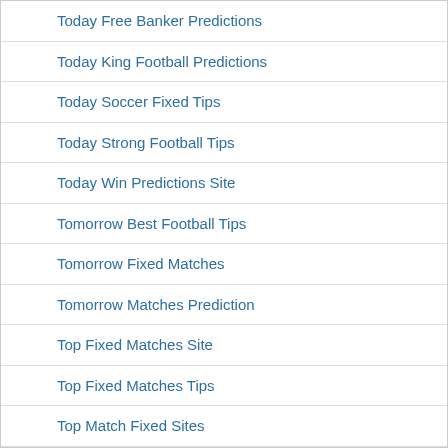Today Free Banker Predictions
Today King Football Predictions
Today Soccer Fixed Tips
Today Strong Football Tips
Today Win Predictions Site
Tomorrow Best Football Tips
Tomorrow Fixed Matches
Tomorrow Matches Prediction
Top Fixed Matches Site
Top Fixed Matches Tips
Top Match Fixed Sites
Top Prediction Today Site
Top Soccer Prediction Sites
Uganda Soccer Fixed Games
Uncategorized